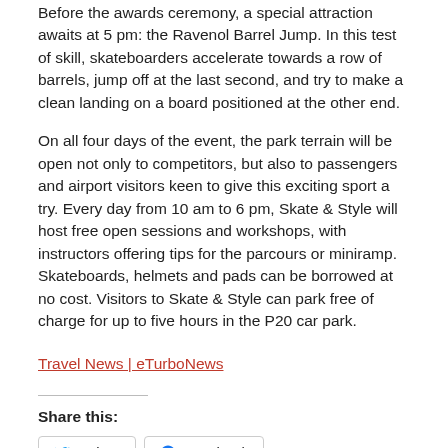Before the awards ceremony, a special attraction awaits at 5 pm: the Ravenol Barrel Jump. In this test of skill, skateboarders accelerate towards a row of barrels, jump off at the last second, and try to make a clean landing on a board positioned at the other end.
On all four days of the event, the park terrain will be open not only to competitors, but also to passengers and airport visitors keen to give this exciting sport a try. Every day from 10 am to 6 pm, Skate & Style will host free open sessions and workshops, with instructors offering tips for the parcours or miniramp. Skateboards, helmets and pads can be borrowed at no cost. Visitors to Skate & Style can park free of charge for up to five hours in the P20 car park.
Travel News | eTurboNews
Share this:
Twitter
Facebook